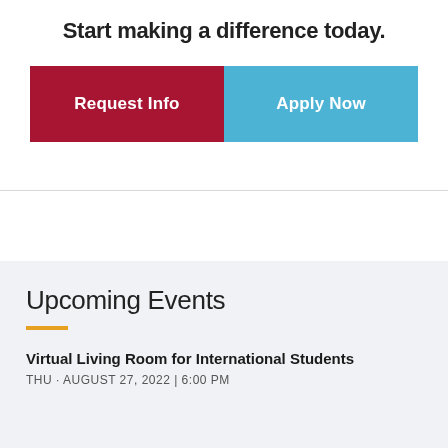Start making a difference today.
[Figure (other): Two call-to-action buttons side by side: 'Request Info' (dark red/crimson) and 'Apply Now' (light blue)]
Upcoming Events
Virtual Living Room for International Students
THU · AUGUST 27, 2022 | 6:00 PM